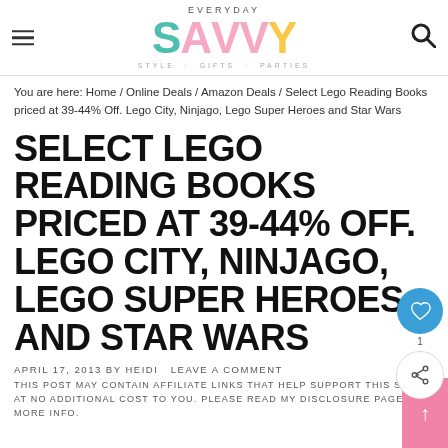EVERYDAY SAVVY — STYLE · GIFTS · PARTIES
You are here: Home / Online Deals / Amazon Deals / Select Lego Reading Books priced at 39-44% Off. Lego City, Ninjago, Lego Super Heroes and Star Wars
SELECT LEGO READING BOOKS PRICED AT 39-44% OFF. LEGO CITY, NINJAGO, LEGO SUPER HEROES AND STAR WARS
APRIL 17, 2013 BY HEIDI LEAVE A COMMENT
THIS POST MAY CONTAIN AFFILIATE LINKS THAT HELP SUPPORT THIS SITE AT NO ADDITIONAL COST TO YOU. PLEASE READ MY DISCLOSURE PAGE FOR MORE INFO.